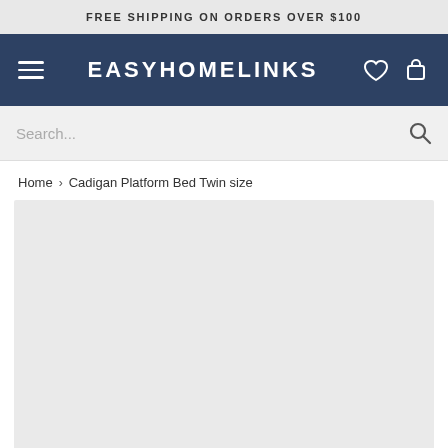FREE SHIPPING ON ORDERS OVER $100
EASYHOMELINKS
Search...
Home > Cadigan Platform Bed Twin size
[Figure (photo): Product image placeholder area for Cadigan Platform Bed Twin size]